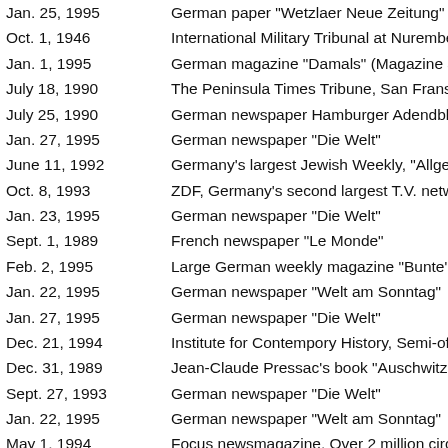| Date | Source |
| --- | --- |
| Jan. 25, 1995 | German paper "Wetzlaer Neue Zeitung" |
| Oct. 1, 1946 | International Military Tribunal at Nuremberg |
| Jan. 1, 1995 | German magazine "Damals" (Magazine abou |
| July 18, 1990 | The Peninsula Times Tribune, San Fransisco |
| July 25, 1990 | German newspaper Hamburger Adendblatt |
| Jan. 27, 1995 | German newspaper "Die Welt" |
| June 11, 1992 | Germany's largest Jewish Weekly, "Allgemei |
| Oct. 8, 1993 | ZDF, Germany's second largest T.V. network |
| Jan. 23, 1995 | German newspaper "Die Welt" |
| Sept. 1, 1989 | French newspaper "Le Monde" |
| Feb. 2, 1995 | Large German weekly magazine "Bunte" |
| Jan. 22, 1995 | German newspaper "Welt am Sonntag" |
| Jan. 27, 1995 | German newspaper "Die Welt" |
| Dec. 21, 1994 | Institute for Contempory History, Semi-offici |
| Dec. 31, 1989 | Jean-Claude Pressac's book "Auschwitz: Tech |
| Sept. 27, 1993 | German newspaper "Die Welt" |
| Jan. 22, 1995 | German newspaper "Welt am Sonntag" |
| May 1, 1994 | Focus newsmagazine. Over 2 million circulat |
| Jan. 23, 1995 | German newspaper "Die Welt" |
| Jan. 31, 1994 | Jean-Claude Pressac's book "The Auschwitz C |
| Jan. 8, 1948 | Allied censored post-war German News Reel |
| Jan. 6, 1990 | Frankfurter Rundschau |
|  | Former Director of the Institute for Military H |